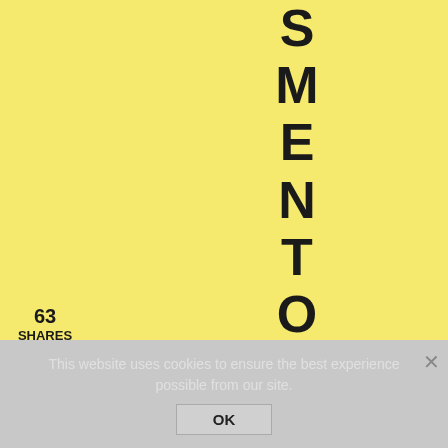[Figure (screenshot): Yellow background with large bold vertical letters spelling out 'SMENTOFFW' displayed top to bottom]
63
SHARES
[Figure (infographic): Social sharing sidebar with Pinterest (red), Facebook (blue), and Email (green) buttons]
This website uses cookies to ensure the best experience possible from our site.
OK